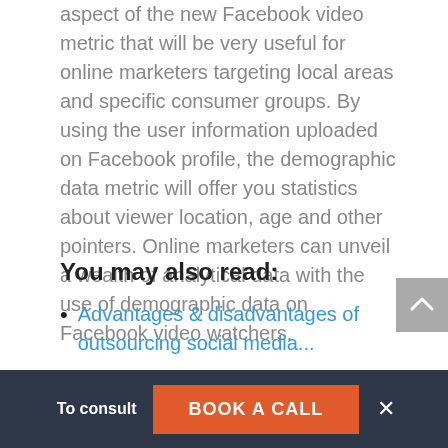aspect of the new Facebook video metric that will be very useful for online marketers targeting local areas and specific consumer groups. By using the user information uploaded on Facebook profile, the demographic data metric will offer you statistics about viewer location, age and other pointers. Online marketers can unveil a wealth of analytical data with the use of demographic data on Facebook video watchers.
You may also read:
Advantages & disadvantages of outsourcing social media...
To consult  BOOK A CALL  ×